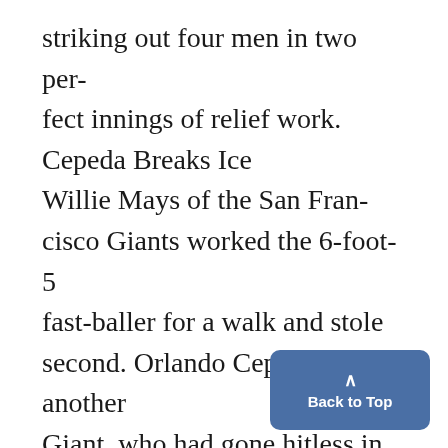striking out four men in two perfect innings of relief work.
Cepeda Breaks Ice
Willie Mays of the San Francisco Giants worked the 6-foot-5 fast-baller for a walk and stole second. Orlando Cepeda, another Giant, who had gone hitless in 20 previous All-Star trips, blooped a single into short right. When Joe Pepitone of the New York Yankees picked up the ba in short right and threw wildly